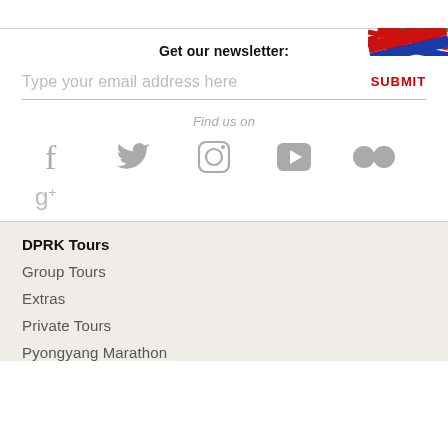Get our newsletter:
Type your email address here
SUBMIT
Find us on
[Figure (illustration): Social media icons: Facebook, Twitter, Instagram, YouTube, Flickr, Google+]
DPRK Tours
Group Tours
Extras
Private Tours
Pyongyang Marathon